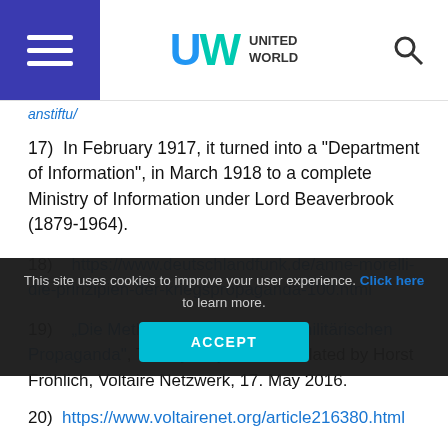United World
anstiftu/
17)  In February 1917, it turned into a "Department of Information", in March 1918 to a complete Ministry of Information under Lord Beaverbrook (1879-1964).
18)   https://www.deutschlandfunk.de/anne-morelli-die-prinzipien-der-kriegspropaganda-100.html
19)   "Die Methoden der modernen militärischen Propaganda", Thierry Meyssan, translated by Horst Fröhlich, Voltaire Netzwerk, 17. May 2016.
20)  https://www.voltairenet.org/article216380.html
21)   "NATO-Kampagne gegen die freie Meinungsäußerung", von Thierry Meyssan, translated
This site uses cookies to improve your user experience. Click here to learn more.